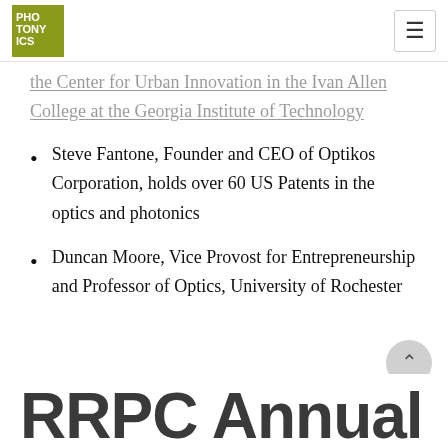PHOTONYICS logo and navigation hamburger menu
the Center for Urban Innovation in the Ivan Allen College at the Georgia Institute of Technology
Steve Fantone, Founder and CEO of Optikos Corporation, holds over 60 US Patents in the optics and photonics
Duncan Moore, Vice Provost for Entrepreneurship and Professor of Optics, University of Rochester
RRPC Annual